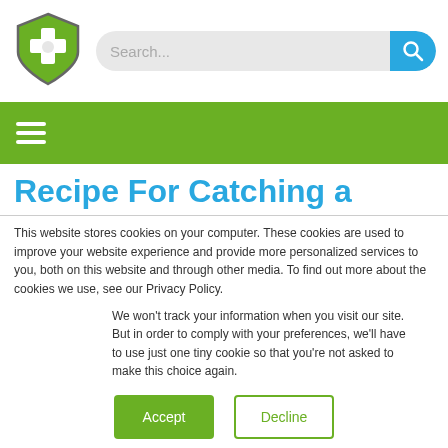[Figure (logo): Green shield logo with white medical cross and paw print]
[Figure (screenshot): Search bar with placeholder text 'Search...' and blue search button with magnifying glass icon]
[Figure (other): Green navigation bar with white hamburger menu icon]
Recipe For Catching a
This website stores cookies on your computer. These cookies are used to improve your website experience and provide more personalized services to you, both on this website and through other media. To find out more about the cookies we use, see our Privacy Policy.
We won't track your information when you visit our site. But in order to comply with your preferences, we'll have to use just one tiny cookie so that you're not asked to make this choice again.
Accept | Decline